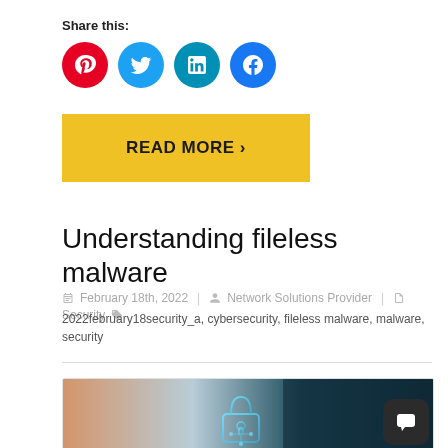Share this:
[Figure (infographic): Social sharing icons: Pinterest (red circle with P), Twitter (blue circle with bird), LinkedIn (teal circle with in), Facebook (blue circle with f)]
READ MORE >
Understanding fileless malware
February 18th, 2022  Network Solutions Provider  Security  2022february18security_a, cybersecurity, fileless malware, malware, security
[Figure (photo): Cybersecurity image showing a glowing lock icon on a dark screen with a device in the background]